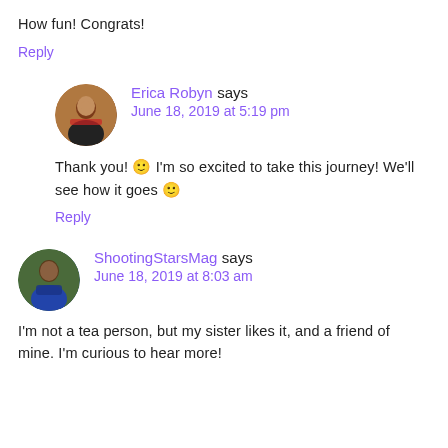How fun! Congrats!
Reply
Erica Robyn says
June 18, 2019 at 5:19 pm
Thank you! 🙂 I'm so excited to take this journey! We'll see how it goes 🙂
Reply
ShootingStarsMag says
June 18, 2019 at 8:03 am
I'm not a tea person, but my sister likes it, and a friend of mine. I'm curious to hear more!